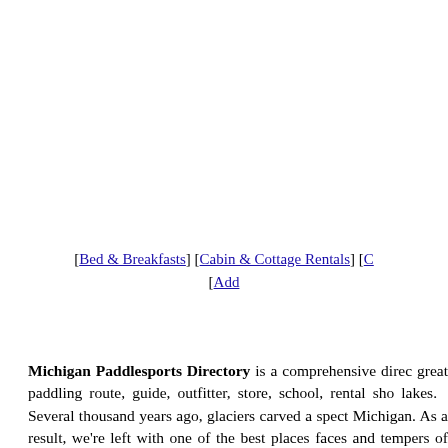[Bed & Breakfasts] [Cabin & Cottage Rentals] [ [Add...
Michigan Paddlesports Directory is a comprehensive direc... great paddling route, guide, outfitter, store, school, rental sho... lakes.   Several thousand years ago, glaciers carved a spect... Michigan. As a result, we're left with one of the best places ... faces and tempers of the Great Lakes, Michigan presents ... wonderful outdoor recreational experiences.  They attract cam...